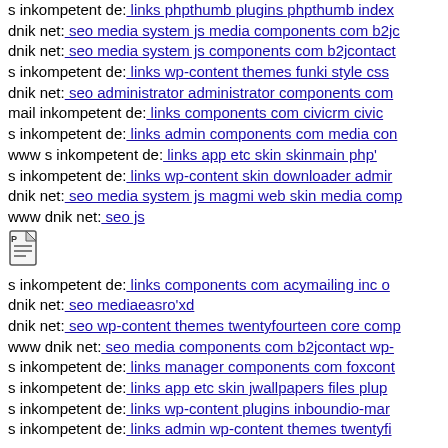s inkompetent de: links phpthumb plugins phpthumb index
dnik net: seo media system js media components com b2jc
dnik net: seo media system js components com b2jcontact
s inkompetent de: links wp-content themes funki style css
dnik net: seo administrator administrator components com
mail inkompetent de: links components com civicrm civic
s inkompetent de: links admin components com media com
www s inkompetent de: links app etc skin skinmain php'
s inkompetent de: links wp-content skin downloader admir
dnik net: seo media system js magmi web skin media comp
www dnik net: seo js
[Figure (illustration): Document/page icon]
s inkompetent de: links components com acymailing inc o
dnik net: seo mediaeasro'xd
dnik net: seo wp-content themes twentyfourteen core comp
www dnik net: seo media components com b2jcontact wp-
s inkompetent de: links manager components com foxcont
s inkompetent de: links app etc skin jwallpapers files plup
s inkompetent de: links wp-content plugins inboundio-mar
s inkompetent de: links admin wp-content themes twentyfi